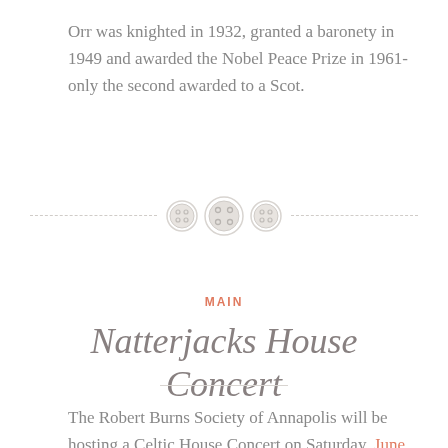Orr was knighted in 1932, granted a baronety in 1949 and awarded the Nobel Peace Prize in 1961- only the second awarded to a Scot.
[Figure (illustration): Three decorative button icons arranged horizontally with dashed divider lines on either side]
MAIN
Natterjacks House Concert
The Robert Burns Society of Annapolis will be hosting a Celtic House Concert on Saturday, June 29th, 2019. This event will be held at the home of Karolyn and George St